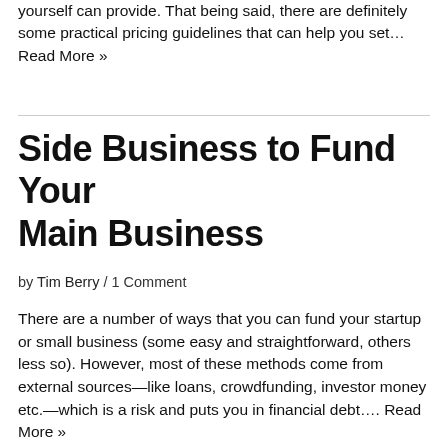yourself can provide. That being said, there are definitely some practical pricing guidelines that can help you set… Read More »
Side Business to Fund Your Main Business
by Tim Berry / 1 Comment
There are a number of ways that you can fund your startup or small business (some easy and straightforward, others less so). However, most of these methods come from external sources—like loans, crowdfunding, investor money etc.—which is a risk and puts you in financial debt…. Read More »